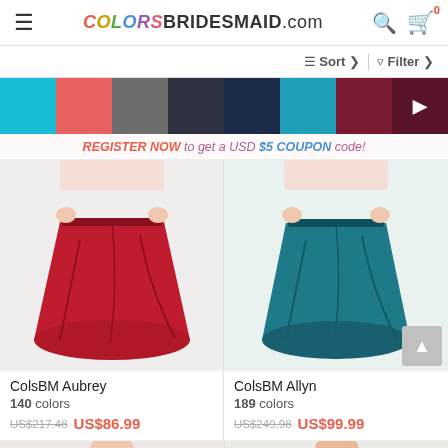COLORSBRIDESMAID.com
Sort  Filter
[Figure (other): Color filter swatches row: turquoise, coral/red, gray, dark charcoal, dark navy, teal, burgundy, plus arrow button]
REGISTER NOW to get a USD $5 COUPON code!
[Figure (photo): Red/crimson full-length bridesmaid skirt/dress on model]
ColsBM Aubrey
140 colors
US$217.48  US$86.99
[Figure (photo): Teal full-length bridesmaid skirt/dress on model]
ColsBM Allyn
189 colors
US$249.98  US$99.99
[Figure (photo): Partial view of two more product cards at bottom of page]